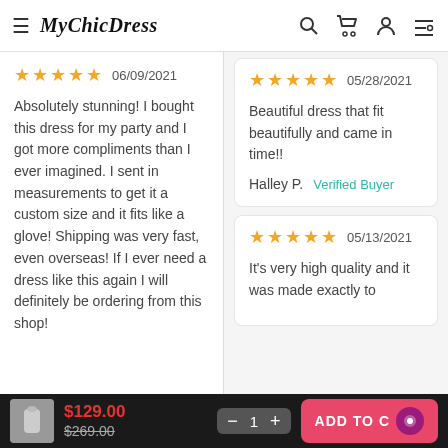MyChicDress
★★★★★  06/09/2021

Absolutely stunning! I bought this dress for my party and I got more compliments than I ever imagined. I sent in measurements to get it a custom size and it fits like a glove! Shipping was very fast, even overseas! If I ever need a dress like this again I will definitely be ordering from this shop!
★★★★★  05/28/2021

Beautiful dress that fit beautifully and came in time!!

Halley P.   Verified Buyer
★★★★★  05/13/2021

It's very high quality and it was made exactly to
$129.00  $269.00  1  ADD TO CART